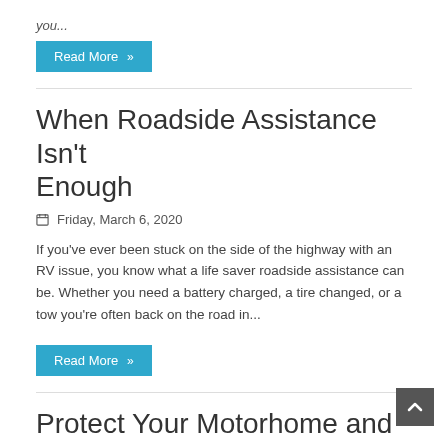you...
Read More »
When Roadside Assistance Isn't Enough
Friday, March 6, 2020
If you've ever been stuck on the side of the highway with an RV issue, you know what a life saver roadside assistance can be. Whether you need a battery charged, a tire changed, or a tow you're often back on the road in...
Read More »
Protect Your Motorhome and RV